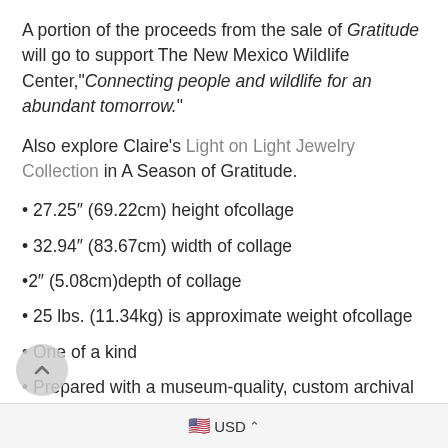A portion of the proceeds from the sale of Gratitude will go to support The New Mexico Wildlife Center,"Connecting people and wildlife for an abundant tomorrow."
Also explore Claire's Light on Light Jewelry Collection in A Season of Gratitude.
27.25" (69.22cm) height ofcollage
32.94" (83.67cm) width of collage
2" (5.08cm)depth of collage
25 lbs. (11.34kg) is approximate weight ofcollage
One of a kind
Prepared with a museum-quality, custom archival box for easy packaging and storage
The delivered piece comes with a signed artist statement and a po magery by Patina Gallery Director Jv detailing the